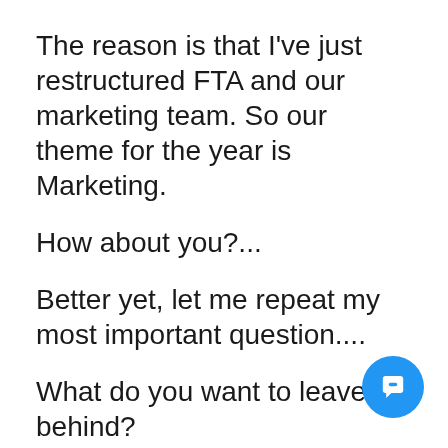The reason is that I've just restructured FTA and our marketing team. So our theme for the year is Marketing.
How about you?...
Better yet, let me repeat my most important question....
What do you want to leave behind?
Let that sh*t go, and launch into the New Year with a bang!
xo, Tracy
Momentum Coaching Program
The Passion Proof Effect Pack...